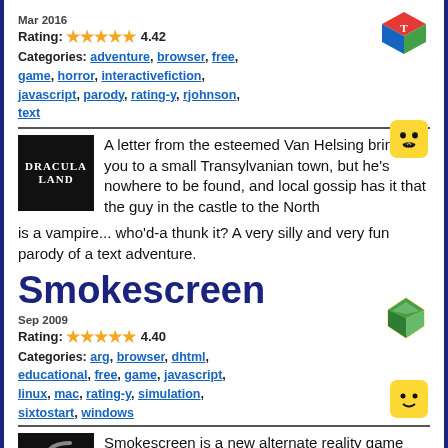Mar 2016
Rating: 4.42
Categories: adventure, browser, free, game, horror, interactivefiction, javascript, parody, rating-y, rjohnson, text
[Figure (logo): Colorful 3D cube icon (T logo)]
[Figure (logo): Yellow face emoji icon]
[Figure (logo): Dracula Land black square game thumbnail]
A letter from the esteemed Van Helsing brings you to a small Transylvanian town, but he's nowhere to be found, and local gossip has it that the guy in the castle to the North is a vampire... who'd-a thunk it? A very silly and very fun parody of a text adventure.
Smokescreen
Sep 2009
Rating: 4.40
Categories: arg, browser, dhtml, educational, free, game, javascript, linux, mac, rating-y, simulation, sixtostart, windows
[Figure (logo): Green/gold gem hexagon icon]
[Figure (logo): Yellow face emoji icon]
[Figure (logo): Smokescreen black thumbnail with C logo]
Smokescreen is a new alternate reality game (ARG) from entertainment